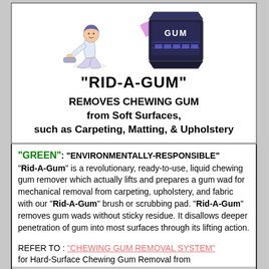[Figure (illustration): Cartoon illustration of a person kneeling and scrubbing a floor on the left, and a box of 'GUM' product on the right with a purple swoosh]
"RID-A-GUM"
REMOVES CHEWING GUM from Soft Surfaces, such as Carpeting, Matting, & Upholstery
"GREEN": "ENVIRONMENTALLY-RESPONSIBLE" "Rid-A-Gum" is a revolutionary, ready-to-use, liquid chewing gum remover which actually lifts and prepares a gum wad for mechanical removal from carpeting, upholstery, and fabric with our "Rid-A-Gum" brush or scrubbing pad. "Rid-A-Gum" removes gum wads without sticky residue. It disallows deeper penetration of gum into most surfaces through its lifting action.
REFER TO : "CHEWING GUM REMOVAL SYSTEM" for Hard-Surface Chewing Gum Removal from